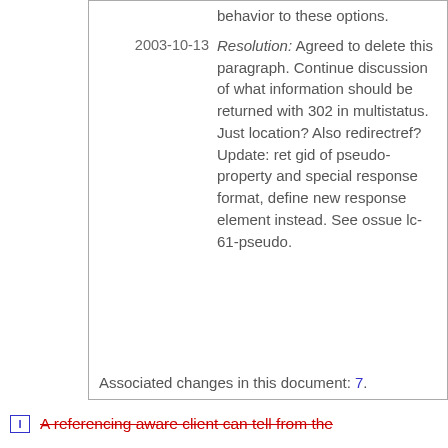behavior to these options.
2003-10-13 Resolution: Agreed to delete this paragraph. Continue discussion of what information should be returned with 302 in multistatus. Just location? Also redirectref? Update: ret gid of pseudo-property and special response format, define new response element instead. See ossue lc-61-pseudo.
Associated changes in this document: 7.
A referencing aware client can tell from the